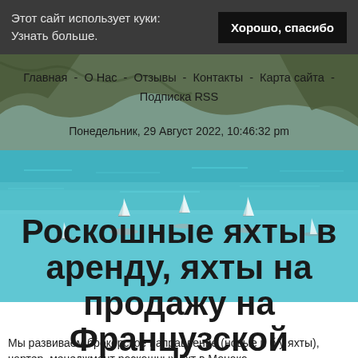Этот сайт использует куки: Узнать больше.
Хорошо, спасибо
[Figure (photo): Background photo of the French Riviera coastline with turquoise water, rocky cliffs, and sailboats]
Главная - О Нас - Отзывы - Контакты - Карта сайта - Подписка RSS
Понедельник, 29 Август 2022, 10:46:32 pm
Роскошные яхты в аренду, яхты на продажу на Французской Ривьере
Мы развиваем брокерское направление (новые и б/у яхты), чартер, менеджмент роскошных яхт в Монако